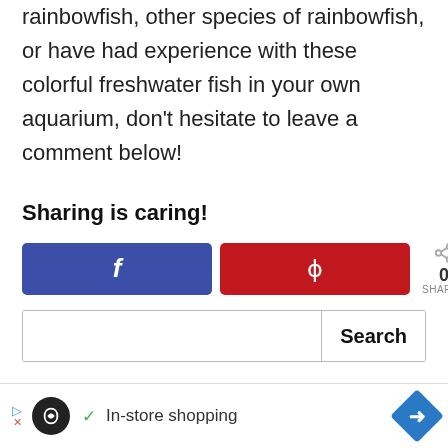rainbowfish, other species of rainbowfish, or have had experience with these colorful freshwater fish in your own aquarium, don't hesitate to leave a comment below!
Sharing is caring!
[Figure (screenshot): Social sharing buttons: Facebook (blue) and Pinterest (red), with a share count of 0 SHARES]
[Figure (screenshot): Search bar with a Search button]
[Figure (screenshot): Advertisement bar at the bottom showing In-store shopping with icons]